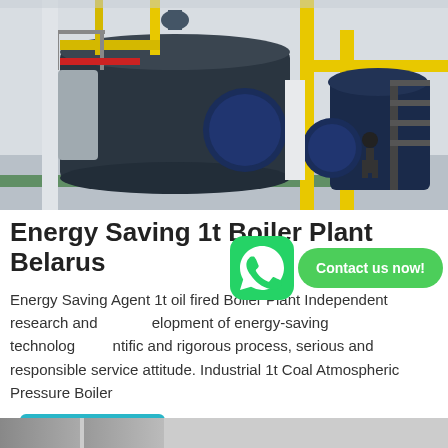[Figure (photo): Industrial boiler room with large dark cylindrical boilers, yellow pipes, white walls, steel staircases and a person visible in the background]
Energy Saving 1t Boiler Plant Belarus
Energy Saving Agent 1t oil fired Boiler Plant Independent research and development of energy-saving technologies, scientific and rigorous process, serious and responsible service attitude. Industrial 1t Coal Atmospheric Pressure Boiler Distributor Belarus
[Figure (other): WhatsApp icon button and Contact us now! green pill button overlay]